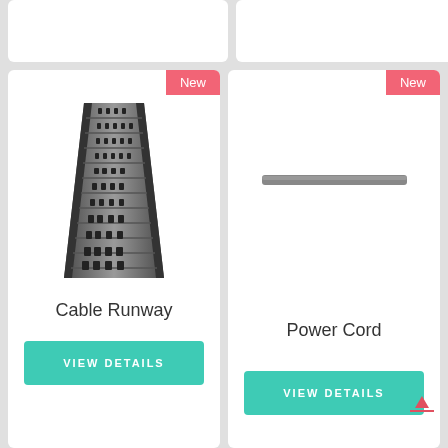[Figure (photo): Partial top of two product cards, barely visible white rounded rectangles]
[Figure (photo): Cable Runway product card with image of perforated metal cable runway tray, 'New' badge, product name 'Cable Runway', and 'VIEW DETAILS' button]
New
[Figure (photo): Image of a dark gray perforated metal cable runway tray viewed in perspective]
Cable Runway
VIEW DETAILS
[Figure (photo): Power Cord product card with image of a power cord/strip, 'New' badge, product name 'Power Cord', and 'VIEW DETAILS' button]
New
[Figure (photo): Image of a gray horizontal power cord or power strip]
Power Cord
VIEW DETAILS